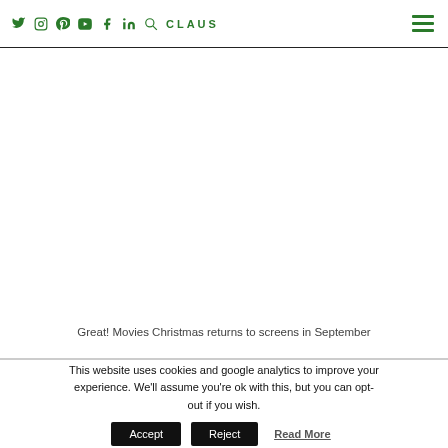Twitter Instagram Pinterest YouTube Facebook LinkedIn Search CLAUS [hamburger menu]
Great! Movies Christmas returns to screens in September
This website uses cookies and google analytics to improve your experience. We'll assume you're ok with this, but you can opt-out if you wish. Accept Reject Read More